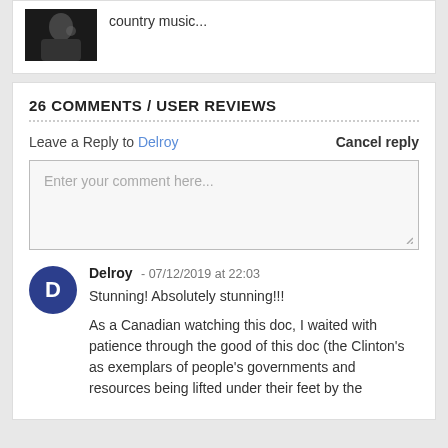[Figure (photo): Black and white photo of a person]
country music...
26 COMMENTS / USER REVIEWS
Leave a Reply to Delroy   Cancel reply
Enter your comment here...
Delroy - 07/12/2019 at 22:03
Stunning! Absolutely stunning!!!

As a Canadian watching this doc, I waited with patience through the good of this doc (the Clinton's as exemplars of people's governments and resources being lifted under their feet by the